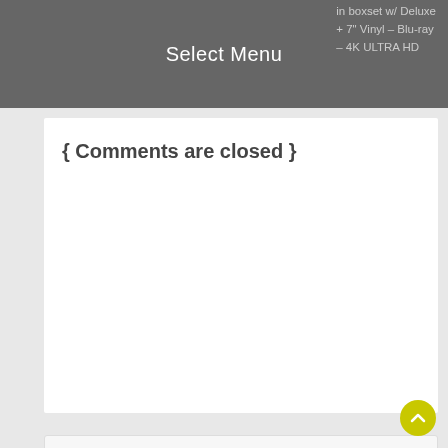Select Menu
in boxset w/ Deluxe + 7" Vinyl – Blu-ray – 4K ULTRA HD
{ Comments are closed }
Search here..
Popular This Month
Sammy Hagar on Being Visited by Eddie Van Halen: "I've got goosebumps, head to toe" - 2022
Mötley Crüe's Tommy Lee Whips Out Wiener at